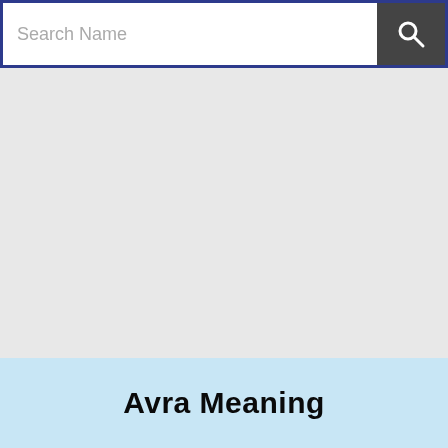Search Name
[Figure (screenshot): Gray empty content area]
Avra Meaning